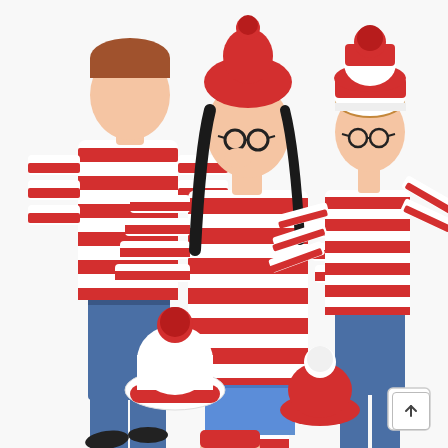[Figure (photo): Product photo showing three people (a man, a woman, and a young girl) wearing matching red and white striped long-sleeve shirts in a Where's Waldo / Wally costume style. The woman wears a red beanie hat with a pom-pom, round black glasses, denim shorts, and red-and-white striped knee-high socks with white sneakers. The man wears blue jeans and dark sneakers. The girl wears blue jeans, a red-and-white striped beanie with pom-pom, and round glasses. At the bottom of the image are two additional hats (one white with a red brim and red pom-pom, one red with a white pom-pom) and a partially visible person wearing a hat. The background is white.]